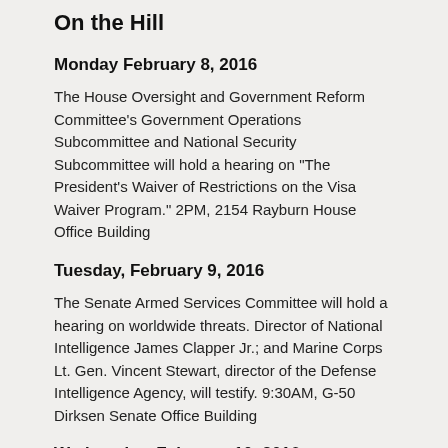On the Hill
Monday February 8, 2016
The House Oversight and Government Reform Committee's Government Operations Subcommittee and National Security Subcommittee will hold a hearing on "The President's Waiver of Restrictions on the Visa Waiver Program." 2PM, 2154 Rayburn House Office Building
Tuesday, February 9, 2016
The Senate Armed Services Committee will hold a hearing on worldwide threats. Director of National Intelligence James Clapper Jr.; and Marine Corps Lt. Gen. Vincent Stewart, director of the Defense Intelligence Agency, will testify. 9:30AM, G-50 Dirksen Senate Office Building
Wednesday, February 10, 2016
The House Foreign Affairs Committee will hold a hearing on "From Iraq and Syria to Libya and Beyond: The Evolving ISIL Threat." Brett McGurk, special presidential envoy for the Global Coalition to Counter ISIL, will testify. 10AM, 2172